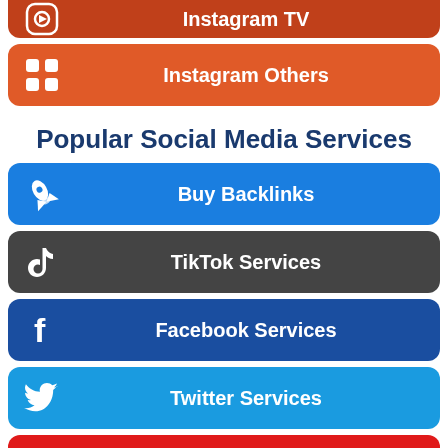Instagram TV
Instagram Others
Popular Social Media Services
Buy Backlinks
TikTok Services
Facebook Services
Twitter Services
YouTube Services
Spotify Services